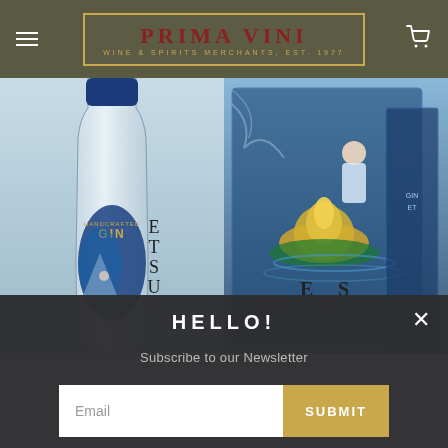[Figure (logo): Prima Vini logo — Wine & Spirits Merchants, Est. 1977 — in a gold-bordered box with dark olive header background]
[Figure (photo): Two product images side by side: left shows a Handcrafted Gin ETSU bottle with Japanese-style illustrated label featuring blue and gold motifs of Mount Fuji and a geisha; right shows the ETSU Gin gift box with blue background artwork of a geisha holding a lantern near a golden lotus flower]
HELLO!
Subscribe to our Newsletter
Email
SUBMIT